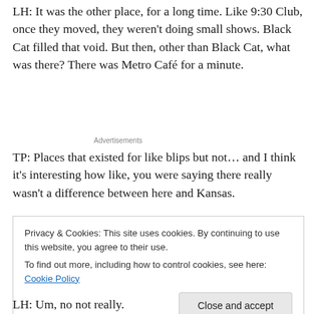LH: It was the other place, for a long time. Like 9:30 Club, once they moved, they weren't doing small shows. Black Cat filled that void. But then, other than Black Cat, what was there? There was Metro Café for a minute.
Advertisements
TP: Places that existed for like blips but not… and I think it's interesting how like, you were saying there really wasn't a difference between here and Kansas.
Privacy & Cookies: This site uses cookies. By continuing to use this website, you agree to their use.
To find out more, including how to control cookies, see here: Cookie Policy
Close and accept
LH: Um, no not really.